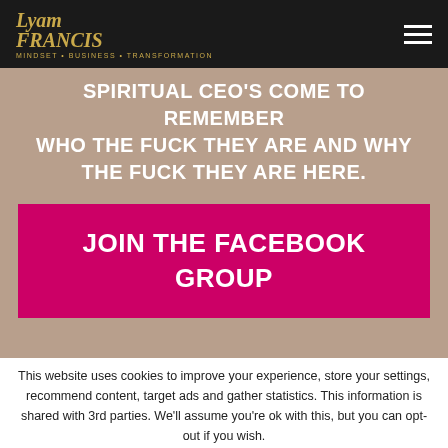Lyam Francis — logo and navigation
SPIRITUAL CEO'S COME TO REMEMBER WHO THE FUCK THEY ARE AND WHY THE FUCK THEY ARE HERE.
JOIN THE FACEBOOK GROUP
This website uses cookies to improve your experience, store your settings, recommend content, target ads and gather statistics. This information is shared with 3rd parties. We'll assume you're ok with this, but you can opt-out if you wish.
Accept   Read More